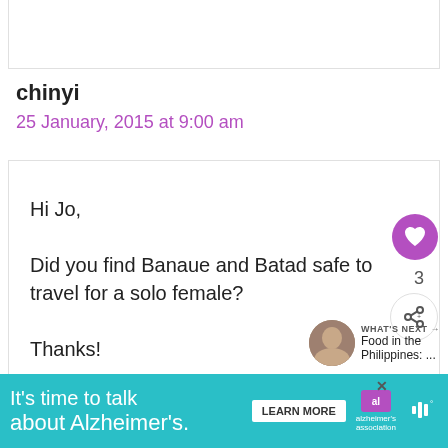chinyi
25 January, 2015 at 9:00 am
Hi Jo,

Did you find Banaue and Batad safe to travel for a solo female?

Thanks!
Reply
WHAT'S NEXT → Food in the Philippines: ...
It's time to talk about Alzheimer's. LEARN MORE